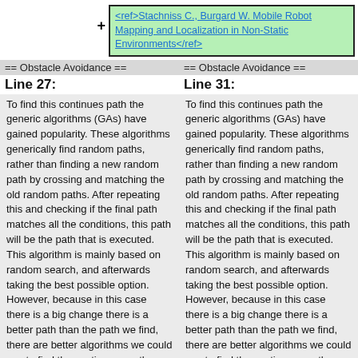<ref>Stachniss C., Burgard W. Mobile Robot Mapping and Localization in Non-Static Environments</ref>
== Obstacle Avoidance ==
== Obstacle Avoidance ==
Line 27:
Line 31:
To find this continues path the generic algorithms (GAs) have gained popularity. These algorithms generically find random paths, rather than finding a new random path by crossing and matching the old random paths. After repeating this and checking if the final path matches all the conditions, this path will be the path that is executed. This algorithm is mainly based on random search, and afterwards taking the best possible option. However, because in this case there is a big change there is a better path than the path we find, there are better algorithms we could use to find the continuous path we want to walk with the guiding robot. So in the article 'on a PBIL Algorithm ROBIL: Robot Path
To find this continues path the generic algorithms (GAs) have gained popularity. These algorithms generically find random paths, rather than finding a new random path by crossing and matching the old random paths. After repeating this and checking if the final path matches all the conditions, this path will be the path that is executed. This algorithm is mainly based on random search, and afterwards taking the best possible option. However, because in this case there is a big change there is a better path than the path we find, there are better algorithms we could use to find the continuous path we want to walk with the guiding robot. So in the article 'on a PBIL Algorithm ROBIL: Robot Path